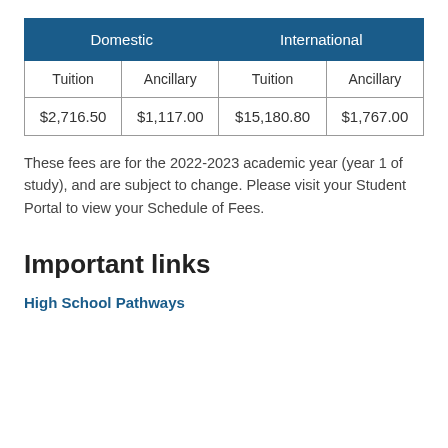| Domestic |  | International |  |
| --- | --- | --- | --- |
| Tuition | Ancillary | Tuition | Ancillary |
| $2,716.50 | $1,117.00 | $15,180.80 | $1,767.00 |
These fees are for the 2022-2023 academic year (year 1 of study), and are subject to change. Please visit your Student Portal to view your Schedule of Fees.
Important links
High School Pathways